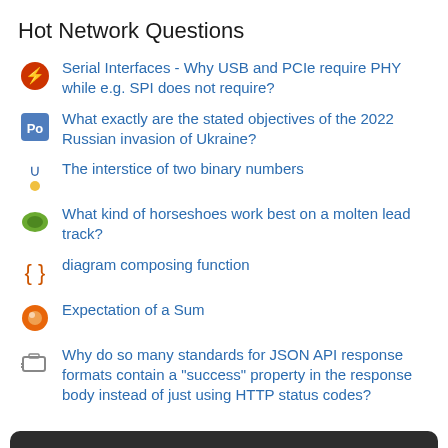Hot Network Questions
Serial Interfaces - Why USB and PCIe require PHY while e.g. SPI does not require?
What exactly are the stated objectives of the 2022 Russian invasion of Ukraine?
The interstice of two binary numbers
What kind of horseshoes work best on a molten lead track?
diagram composing function
Expectation of a Sum
Why do so many standards for JSON API response formats contain a "success" property in the response body instead of just using HTTP status codes?
Your privacy
By clicking "Accept all cookies", you agree Stack Exchange can store cookies on your device and disclose information in accordance with our Cookie Policy.
Attach the Arduino ISR function to the class member